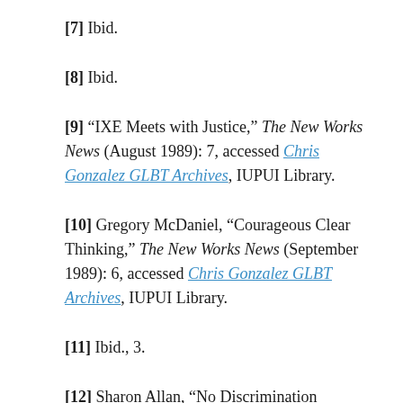[7] Ibid.
[8] Ibid.
[9] "IXE Meets with Justice," The New Works News (August 1989): 7, accessed Chris Gonzalez GLBT Archives, IUPUI Library.
[10] Gregory McDaniel, "Courageous Clear Thinking," The New Works News (September 1989): 6, accessed Chris Gonzalez GLBT Archives, IUPUI Library.
[11] Ibid., 3.
[12] Sharon Allan, "No Discrimination